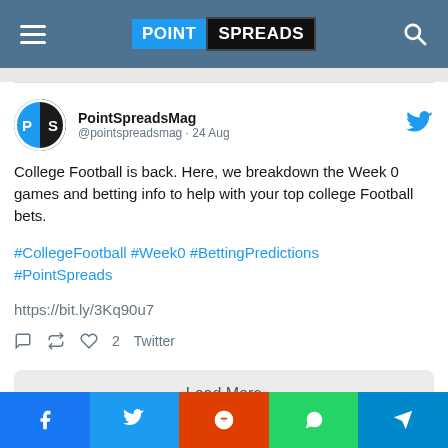POINT SPREADS
[Figure (screenshot): Embedded tweet from @PointSpreadsMag dated 24 Aug about College football Week 0 games and betting info, with hashtags #CollegeFootball #Week0 #BettingPredictions #PointSpreads and link https://bit.ly/3Kq90u7]
Load More
Facebook Twitter Reddit WhatsApp Telegram social share buttons